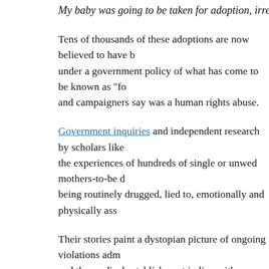My baby was going to be taken for adoption, irrespecti…
Tens of thousands of these adoptions are now believed to have b… under a government policy of what has come to be known as “fo… and campaigners say was a human rights abuse.
Government inquiries and independent research by scholars like… the experiences of hundreds of single or unwed mothers-to-be d… being routinely drugged, lied to, emotionally and physically ass…
Their stories paint a dystopian picture of ongoing violations adm… and the medical establishment in line with bigoted social attitud… and Torres Strait Islander women who over decades had their ch… agencies and church missions, many of these mothers consider t… generation.”
“To call it ‘forced adoption’ is really mislabeling what happened… by the government that happened right across Australia,” says C… PhD on the subject.